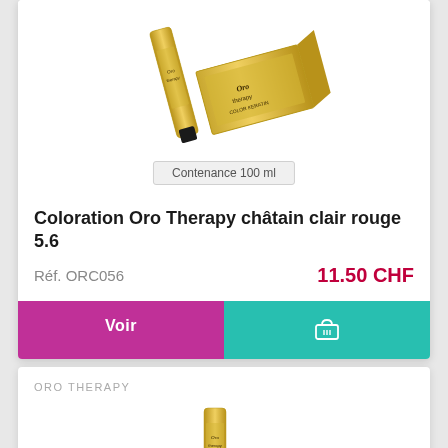[Figure (photo): Product photo of Oro Therapy hair color tube and packaging box in gold, color 5.6]
Contenance 100 ml
Coloration Oro Therapy châtain clair rouge 5.6
Réf. ORC056
11.50 CHF
Voir
ORO THERAPY
[Figure (photo): Partial product image of another Oro Therapy item, only top portion visible]